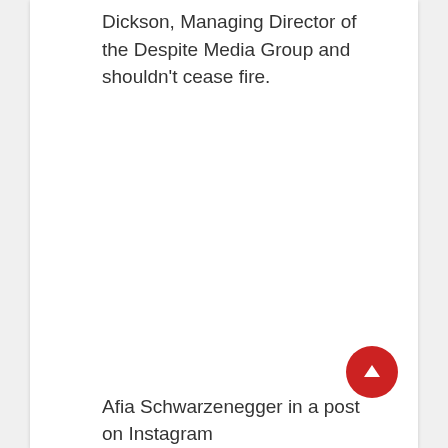Dickson, Managing Director of the Despite Media Group and shouldn't cease fire.
Afia Schwarzenegger in a post on Instagram